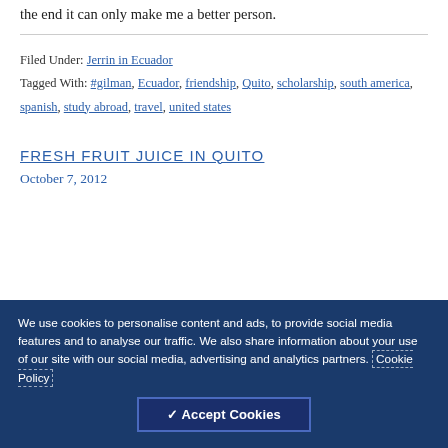the end it can only make me a better person.
Filed Under: Jerrin in Ecuador
Tagged With: #gilman, Ecuador, friendship, Quito, scholarship, south america, spanish, study abroad, travel, united states
FRESH FRUIT JUICE IN QUITO
October 7, 2012
We use cookies to personalise content and ads, to provide social media features and to analyse our traffic. We also share information about your use of our site with our social media, advertising and analytics partners. Cookie Policy
✓ Accept Cookies